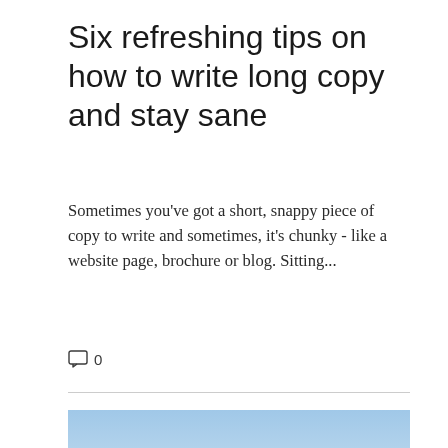Six refreshing tips on how to write long copy and stay sane
Sometimes you've got a short, snappy piece of copy to write and sometimes, it's chunky - like a website page, brochure or blog. Sitting...
0
[Figure (photo): Outdoor autumn landscape photo showing a sunset or sunrise over rolling hills with trees with orange and red foliage in the foreground and a bright sun on the horizon under a blue sky.]